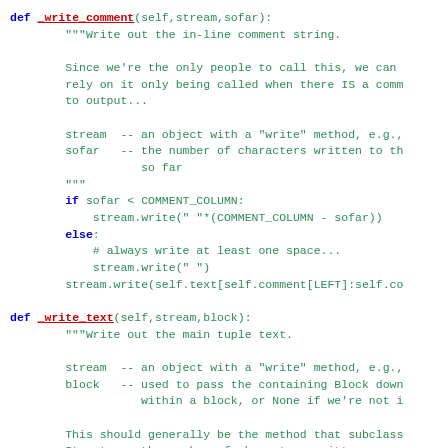def _write_comment(self,stream,sofar):
    """Write out the in-line comment string.

    Since we're the only people to call this, we can
    rely on it only being called when there IS a comm
    to output...

    stream  -- an object with a "write" method, e.g.,
    sofar   -- the number of characters written to th
                so far
    """
    if sofar < COMMENT_COLUMN:
        stream.write(" "*(COMMENT_COLUMN - sofar))
    else:
        # always write at least one space...
        stream.write(" ")
    stream.write(self.text[self.comment[LEFT]:self.co

def _write_text(self,stream,block):
    """Write out the main tuple text.

    stream  -- an object with a "write" method, e.g.,
    block   -- used to pass the containing Block down
                within a block, or None if we're not i

    This should generally be the method that subclass
    It returns the number of characters written, or -
    an error.
    """